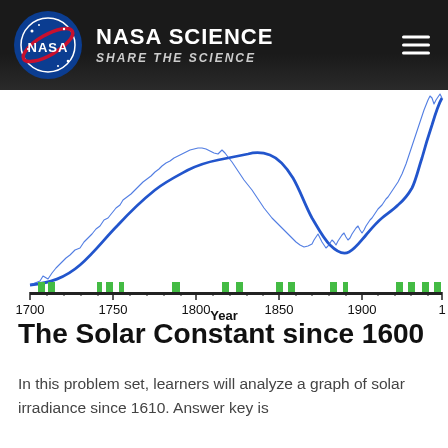NASA SCIENCE — SHARE THE SCIENCE
[Figure (continuous-plot): Line chart showing solar irradiance (the Solar Constant) from approximately 1610 to 2000. Two blue lines: a noisy/jagged line showing annual variation and a smoother trend line. The trend rises from ~1600 to a peak around 1750, dips around 1810 (Maunder Minimum region), rises again to a plateau around 1850, then rises steeply toward 2000. Below the chart is a timeline bar with green rectangles indicating data points or satellite records, and x-axis labels 1700, 1750, 1800, 1850, 1900, 1[950]. The x-axis label reads 'Year'.]
The Solar Constant since 1600
In this problem set, learners will analyze a graph of solar irradiance since 1610. Answer key is